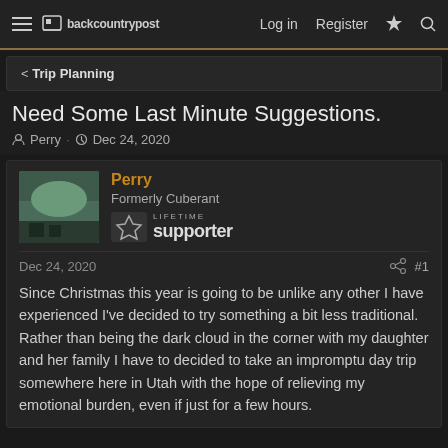backcountrypost — Log in  Register
< Trip Planning
Need Some Last Minute Suggestions.
Perry · Dec 24, 2020
Perry
Formerly Cuberant
LIFETIME supporter
Dec 24, 2020  #1
Since Christmas this year is going to be unlike any other I have experienced I've decided to try something a bit less traditional. Rather than being the dark cloud in the corner with my daughter and her family I have to decided to take an impromptu day trip somewhere here in Utah with the hope of relieving my emotional burden, even if just for a few hours.